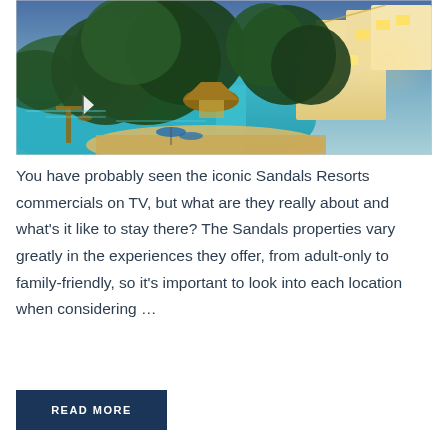[Figure (photo): Aerial/elevated view of a tropical resort (Sandals Resorts) on a turquoise bay, with lush green trees, sandy beach, thatched huts, and illuminated buildings at dusk.]
You have probably seen the iconic Sandals Resorts commercials on TV, but what are they really about and what’s it like to stay there? The Sandals properties vary greatly in the experiences they offer, from adult-only to family-friendly, so it’s important to look into each location when considering …
READ MORE